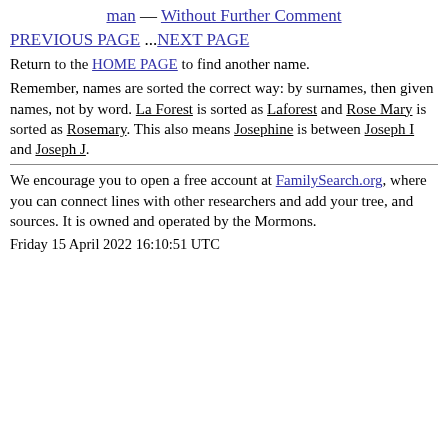man — Without Further Comment
PREVIOUS PAGE ...NEXT PAGE
Return to the HOME PAGE to find another name.
Remember, names are sorted the correct way: by surnames, then given names, not by word. La Forest is sorted as Laforest and Rose Mary is sorted as Rosemary. This also means Josephine is between Joseph I and Joseph J.
We encourage you to open a free account at FamilySearch.org, where you can connect lines with other researchers and add your tree, and sources. It is owned and operated by the Mormons.
Friday 15 April 2022 16:10:51 UTC